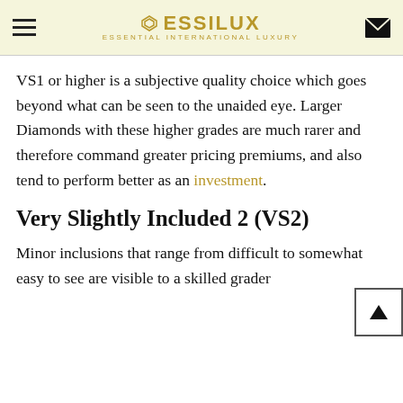ESSILUX — ESSENTIAL INTERNATIONAL LUXURY
VS1 or higher is a subjective quality choice which goes beyond what can be seen to the unaided eye. Larger Diamonds with these higher grades are much rarer and therefore command greater pricing premiums, and also tend to perform better as an investment.
Very Slightly Included 2 (VS2)
Minor inclusions that range from difficult to somewhat easy to see are visible to a skilled grader